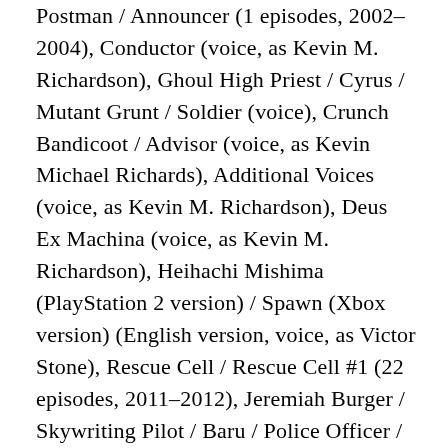Postman / Announcer (1 episodes, 2002-2004), Conductor (voice, as Kevin M. Richardson), Ghoul High Priest / Cyrus / Mutant Grunt / Soldier (voice), Crunch Bandicoot / Advisor (voice, as Kevin Michael Richards), Additional Voices (voice, as Kevin M. Richardson), Deus Ex Machina (voice, as Kevin M. Richardson), Heihachi Mishima (PlayStation 2 version) / Spawn (Xbox version) (English version, voice, as Victor Stone), Rescue Cell / Rescue Cell #1 (22 episodes, 2011-2012), Jeremiah Burger / Skywriting Pilot / Baru / Police Officer / Police Officer #2 / Reporter / Surfer #1 / News Anchor (27 episodes, 2012-2016), Male Computer Voice / Storm / Goblin Guard #2 / Donny / Dog House Operation